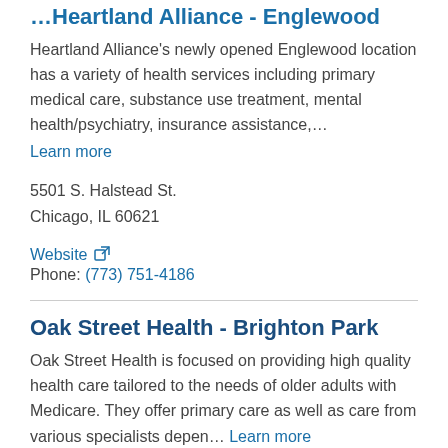Heartland Alliance – Englewood
Heartland Alliance's newly opened Englewood location has a variety of health services including primary medical care, substance use treatment, mental health/psychiatry, insurance assistance,... Learn more
5501 S. Halstead St.
Chicago, IL 60621
Website
Phone: (773) 751-4186
Oak Street Health - Brighton Park
Oak Street Health is focused on providing high quality health care tailored to the needs of older adults with Medicare. They offer primary care as well as care from various specialists depen... Learn more